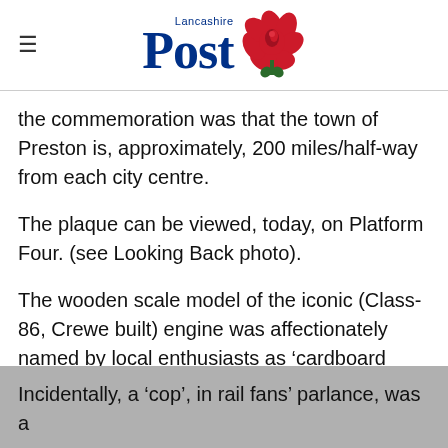Lancashire Post
the commemoration was that the town of Preston is, approximately, 200 miles/half-way from each city centre.
The plaque can be viewed, today, on Platform Four. (see Looking Back photo).
The wooden scale model of the iconic (Class-86, Crewe built) engine was affectionately named by local enthusiasts as ‘cardboard cop’!
Incidentally, a ‘cop’, in rail fans’ parlance, was a